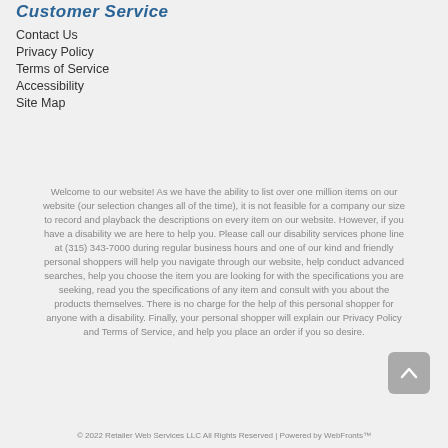Customer Service
Contact Us
Privacy Policy
Terms of Service
Accessibility
Site Map
Welcome to our website! As we have the ability to list over one million items on our website (our selection changes all of the time), it is not feasible for a company our size to record and playback the descriptions on every item on our website. However, if you have a disability we are here to help you. Please call our disability services phone line at (315) 343-7000 during regular business hours and one of our kind and friendly personal shoppers will help you navigate through our website, help conduct advanced searches, help you choose the item you are looking for with the specifications you are seeking, read you the specifications of any item and consult with you about the products themselves. There is no charge for the help of this personal shopper for anyone with a disability. Finally, your personal shopper will explain our Privacy Policy and Terms of Service, and help you place an order if you so desire.
© 2022 Retailer Web Services LLC All Rights Reserved | Powered by WebFronts™